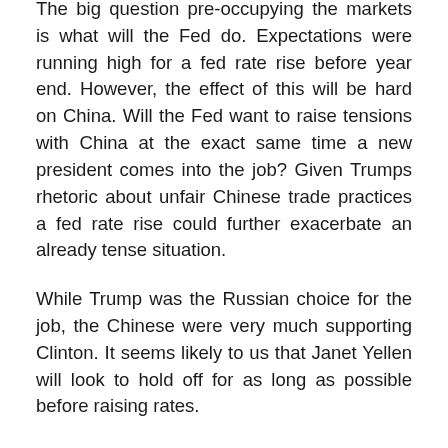The big question pre-occupying the markets is what will the Fed do. Expectations were running high for a fed rate rise before year end. However, the effect of this will be hard on China. Will the Fed want to raise tensions with China at the exact same time a new president comes into the job? Given Trumps rhetoric about unfair Chinese trade practices a fed rate rise could further exacerbate an already tense situation.
While Trump was the Russian choice for the job, the Chinese were very much supporting Clinton. It seems likely to us that Janet Yellen will look to hold off for as long as possible before raising rates.
Ultimately current global markets are only really affected by monetary policy and Donald Trump's election makes it less likely the Fed will tighten. This should start to translate into higher prices in